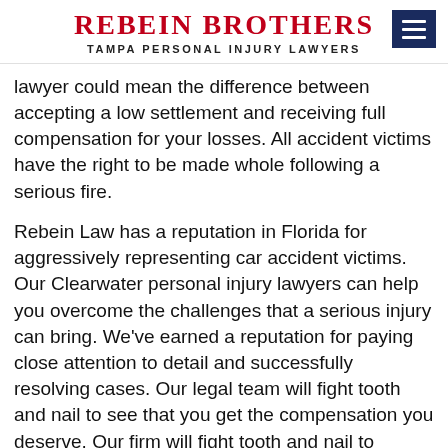Rebein Brothers
TAMPA PERSONAL INJURY LAWYERS
lawyer could mean the difference between accepting a low settlement and receiving full compensation for your losses. All accident victims have the right to be made whole following a serious fire.
Rebein Law has a reputation in Florida for aggressively representing car accident victims. Our Clearwater personal injury lawyers can help you overcome the challenges that a serious injury can bring. We've earned a reputation for paying close attention to detail and successfully resolving cases. Our legal team will fight tooth and nail to see that you get the compensation you deserve. Our firm will fight tooth and nail to ensure that your case is handled fairly and that you are not forced to accept a low-ball settlement offer from the insurance company.
For a free consultation about your case and how our lawyers